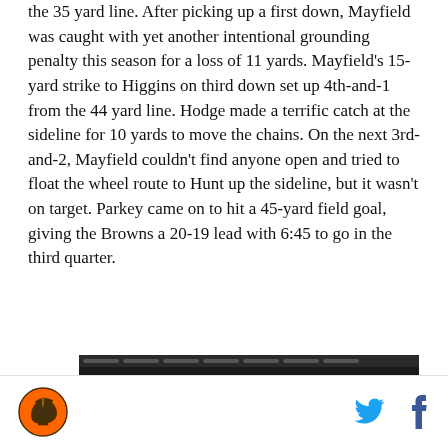the 35 yard line. After picking up a first down, Mayfield was caught with yet another intentional grounding penalty this season for a loss of 11 yards. Mayfield's 15-yard strike to Higgins on third down set up 4th-and-1 from the 44 yard line. Hodge made a terrific catch at the sideline for 10 yards to move the chains. On the next 3rd-and-2, Mayfield couldn't find anyone open and tried to float the wheel route to Hunt up the sideline, but it wasn't on target. Parkey came on to hit a 45-yard field goal, giving the Browns a 20-19 lead with 6:45 to go in the third quarter.
[Figure (screenshot): An embedded video/ad widget with dark background showing 'Top Articles' label with blue bar and a Green Bay Packers logo visible. Three dots menu icon on the right.]
Cleveland Browns logo | Twitter share icon | Facebook share icon